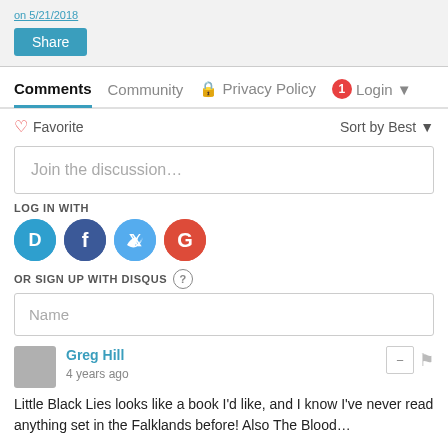on 5/21/2018
Share
Comments  Community  🔒 Privacy Policy  1  Login ▼
♡ Favorite  Sort by Best ▼
Join the discussion…
LOG IN WITH
[Figure (infographic): Social login icons: Disqus (D), Facebook (f), Twitter (bird), Google (G)]
OR SIGN UP WITH DISQUS ?
Name
Greg Hill
4 years ago
Little Black Lies looks like a book I'd like, and I know I've never read anything set in the Falklands before! Also The Blood…